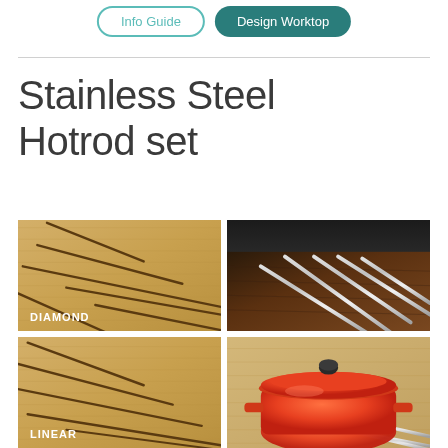Info Guide | Design Worktop
Stainless Steel Hotrod set
[Figure (photo): Four photos in a 2x2 grid showing stainless steel hotrod sets on wooden worktops. Top-left: close-up of diagonal slots cut into light bamboo wood, labeled DIAMOND. Top-right: stainless steel rods inserted diagonally into dark walnut wood worktop with hob in background. Bottom-left: diagonal slots in light bamboo wood labeled LINEAR. Bottom-right: red Le Creuset casserole dish sitting on stainless steel rods in a light wood worktop.]